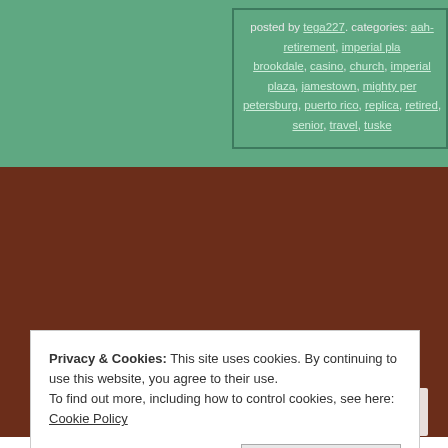posted by tega227. categories: aah-retirement, imperial pla brookdale, casino, church, imperial plaza, jamestown, mighty per petersburg, puerto rico, replica, retired, senior, travel, tuske
[Figure (other): Dark brown/maroon background section, likely a photo or content area placeholder]
Privacy & Cookies: This site uses cookies. By continuing to use this website, you agree to their use. To find out more, including how to control cookies, see here: Cookie Policy
Close and accept